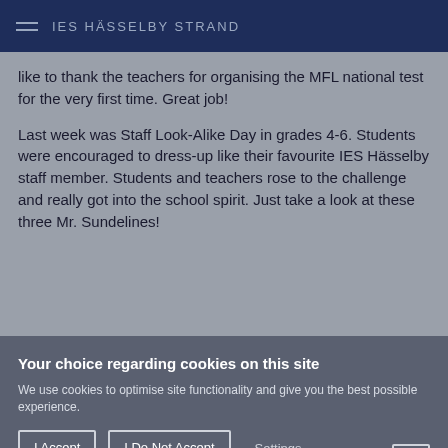IES HÄSSELBY STRAND
like to thank the teachers for organising the MFL national test for the very first time. Great job!
Last week was Staff Look-Alike Day in grades 4-6. Students were encouraged to dress-up like their favourite IES Hässelby staff member. Students and teachers rose to the challenge and really got into the school spirit. Just take a look at these three Mr. Sundelines!
Your choice regarding cookies on this site
We use cookies to optimise site functionality and give you the best possible experience.
I Accept | I Do Not Accept | Settings | X